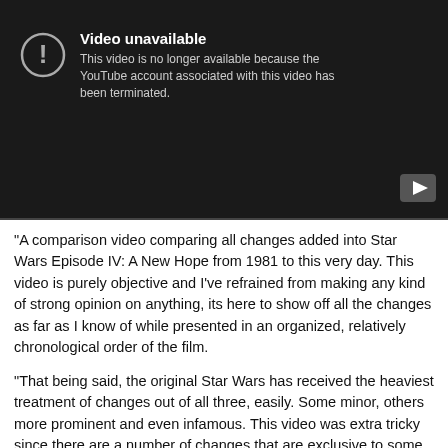[Figure (screenshot): YouTube video unavailable error screen with dark background. Shows a circle with exclamation mark icon, text 'Video unavailable' and message 'This video is no longer available because the YouTube account associated with this video has been terminated.' A play button icon is in the bottom right corner.]
"A comparison video comparing all changes added into Star Wars Episode IV: A New Hope from 1981 to this very day. This video is purely objective and I've refrained from making any kind of strong opinion on anything, its here to show off all the changes as far as I know of while presented in an organized, relatively chronological order of the film.
"That being said, the original Star Wars has received the heaviest treatment of changes out of all three, easily. Some minor, others more prominent and even infamous. This video was extra tricky since there are a number of changes that are exclusive to some releases. Note